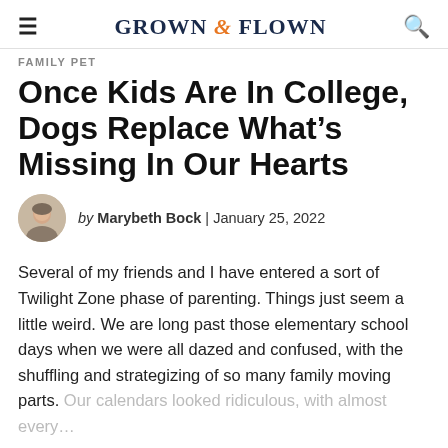GROWN & FLOWN
FAMILY PET
Once Kids Are In College, Dogs Replace What's Missing In Our Hearts
by Marybeth Bock | January 25, 2022
Several of my friends and I have entered a sort of Twilight Zone phase of parenting. Things just seem a little weird. We are long past those elementary school days when we were all dazed and confused, with the shuffling and strategizing of so many family moving parts. Our calendars looked ridiculous, with almost every…